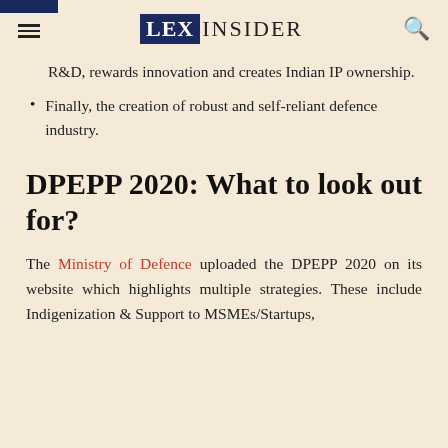LEX INSIDER
R&D, rewards innovation and creates Indian IP ownership.
Finally, the creation of robust and self-reliant defence industry.
DPEPP 2020: What to look out for?
The Ministry of Defence uploaded the DPEPP 2020 on its website which highlights multiple strategies. These include Indigenization & Support to MSMEs/Startups,